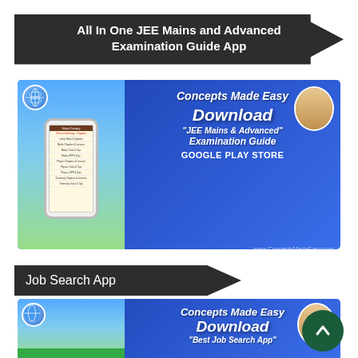All In One JEE Mains and Advanced Examination Guide App
[Figure (screenshot): Concepts Made Easy app advertisement banner for JEE Mains & Advanced Examination Guide on Google Play Store, showing a phone mockup with app menu, globe logo, instructor photo, and website www.ConceptsMadeEasy.com]
Job Search App
[Figure (screenshot): Partial Concepts Made Easy app advertisement banner for a Job Search App, showing the same branding with Download text partially visible]